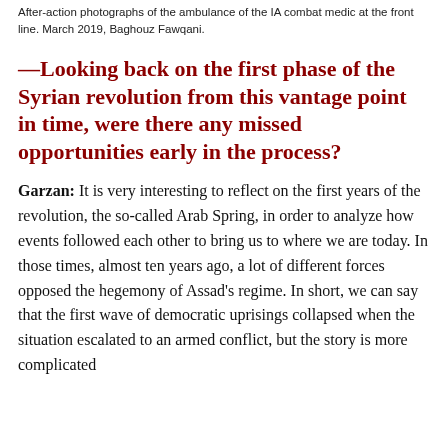After-action photographs of the ambulance of the IA combat medic at the front line. March 2019, Baghouz Fawqani.
—Looking back on the first phase of the Syrian revolution from this vantage point in time, were there any missed opportunities early in the process?
Garzan: It is very interesting to reflect on the first years of the revolution, the so-called Arab Spring, in order to analyze how events followed each other to bring us to where we are today. In those times, almost ten years ago, a lot of different forces opposed the hegemony of Assad's regime. In short, we can say that the first wave of democratic uprisings collapsed when the situation escalated to an armed conflict, but the story is more complicated